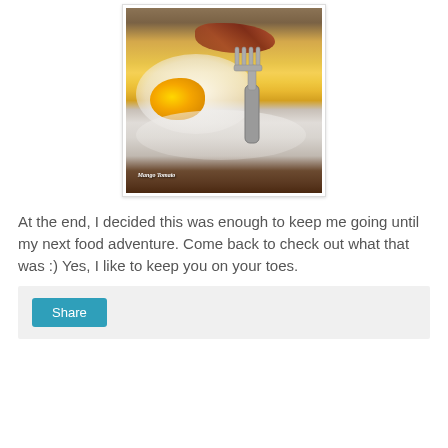[Figure (photo): Close-up photo of a fried egg with runny yolk and bacon bits on a white plate, with a silver fork resting on the egg. Watermark reads 'Mango Tomato' in the lower left corner.]
At the end, I decided this was enough to keep me going until my next food adventure. Come back to check out what that was :) Yes, I like to keep you on your toes.
Share